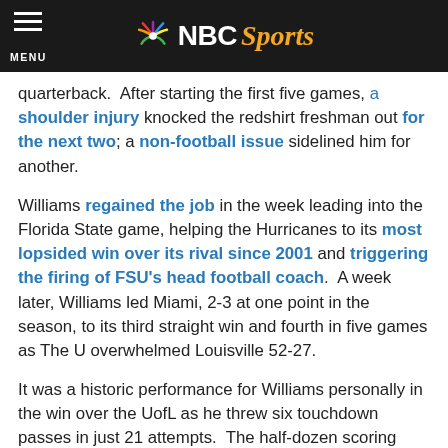NBC Sports
quarterback.  After starting the first five games, a shoulder injury knocked the redshirt freshman out for the next two; a non-football issue sidelined him for another.
Williams regained the job in the week leading into the Florida State game, helping the Hurricanes to its most lopsided win over its rival since 2001 and triggering the firing of FSU's head football coach.  A week later, Williams led Miami, 2-3 at one point in the season, to its third straight win and fourth in five games as The U overwhelmed Louisville 52-27.
It was a historic performance for Williams personally in the win over the UofL as he threw six touchdown passes in just 21 attempts.  The half-dozen scoring tosses set the football program's single-game record.